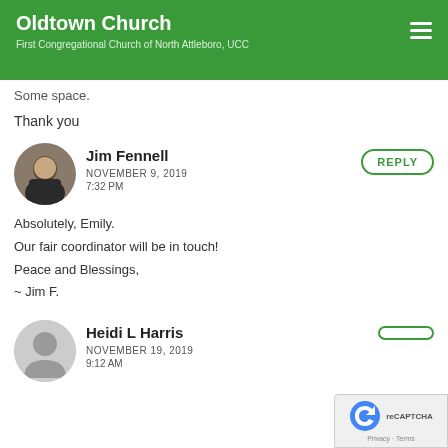Oldtown Church
First Congregational Church of North Attleboro, UCC
Some space.
Thank you
Jim Fennell
NOVEMBER 9, 2019
7:32 PM
Absolutely, Emily.
Our fair coordinator will be in touch!
Peace and Blessings,
~ Jim F.
Heidi L Harris
NOVEMBER 19, 2019
9:12 AM